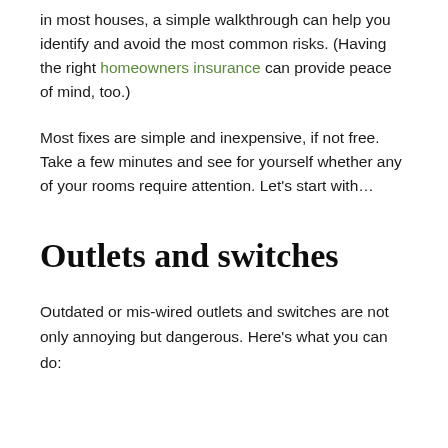in most houses, a simple walkthrough can help you identify and avoid the most common risks. (Having the right homeowners insurance can provide peace of mind, too.)
Most fixes are simple and inexpensive, if not free. Take a few minutes and see for yourself whether any of your rooms require attention. Let's start with…
Outlets and switches
Outdated or mis-wired outlets and switches are not only annoying but dangerous. Here's what you can do: